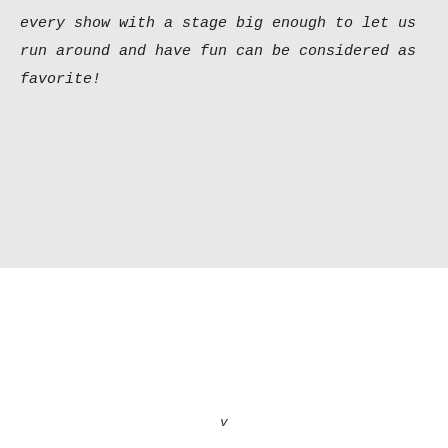every show with a stage big enough to let us run around and have fun can be considered as favorite!
v